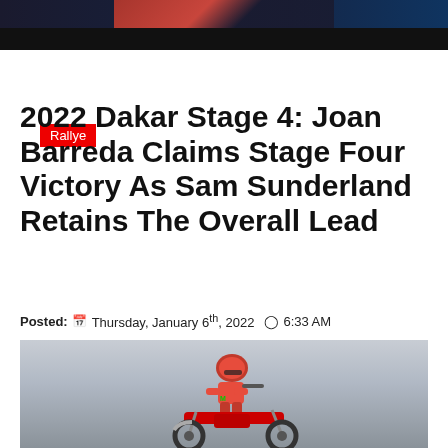Rallye
2022 Dakar Stage 4: Joan Barreda Claims Stage Four Victory As Sam Sunderland Retains The Overall Lead
Posted: Thursday, January 6th, 2022  6:33 AM
[Figure (photo): A motorcycle racer in red gear riding a red dirt bike against a grey sky background at the 2022 Dakar Rally]